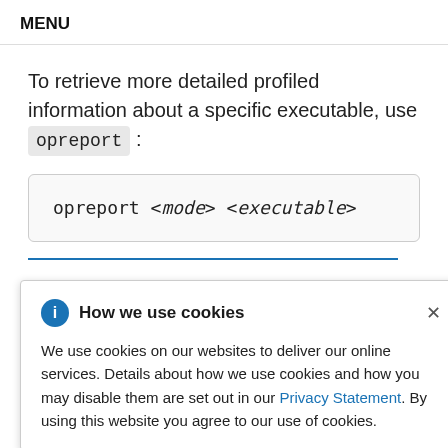MENU
To retrieve more detailed profiled information about a specific executable, use opreport :
How we use cookies

We use cookies on our websites to deliver our online services. Details about how we use cookies and how you may disable them are set out in our Privacy Statement. By using this website you agree to our use of cookies.
List sample data by symbols. For example, the